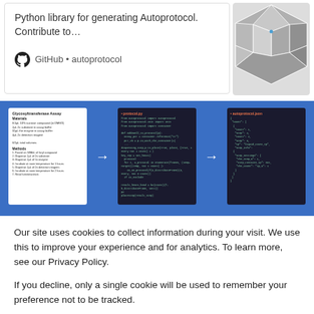Python library for generating Autoprotocol. Contribute to…
GitHub • autoprotocol
[Figure (screenshot): Workflow diagram showing three steps: Manual Protocol (document), Python Protocol (code), and Autoprotocol (JSON) with arrows between them, on a blue background]
Our site uses cookies to collect information during your visit. We use this to improve your experience and for analytics. To learn more, see our Privacy Policy.
If you decline, only a single cookie will be used to remember your preference not to be tracked.